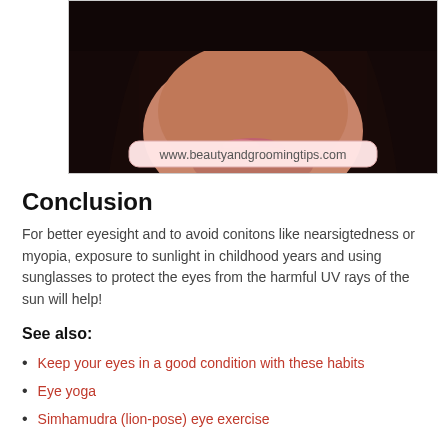[Figure (photo): Close-up photo of a woman's face showing lower portion with lips and dark hair, with a watermark overlay reading www.beautyandgroomingtips.com]
Conclusion
For better eyesight and to avoid conitons like nearsigtedness or myopia, exposure to sunlight in childhood years and using sunglasses to protect the eyes from the harmful UV rays of the sun will help!
See also:
Keep your eyes in a good condition with these habits
Eye yoga
Simhamudra (lion-pose) eye exercise